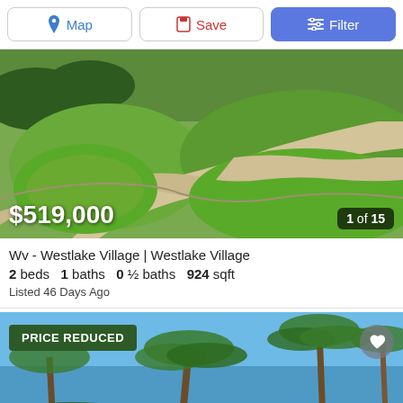[Figure (screenshot): Toolbar with Map, Save, and Filter buttons]
[Figure (photo): Aerial/ground view of green landscaped lawn with curved concrete path]
$519,000
1 of 15
Wv - Westlake Village | Westlake Village
2 beds  1 baths  0 ½ baths  924 sqft
Listed 46 Days Ago
[Figure (photo): Photo of property with palm trees against blue sky, showing PRICE REDUCED badge]